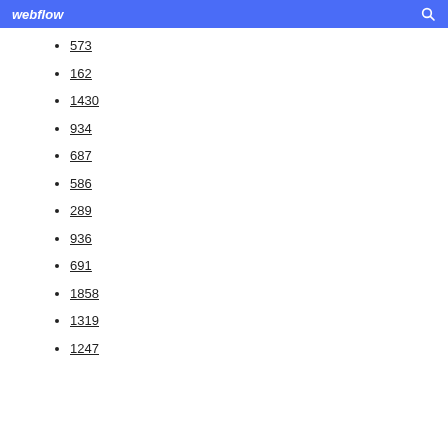webflow  🔍
573
162
1430
934
687
586
289
936
691
1858
1319
1247